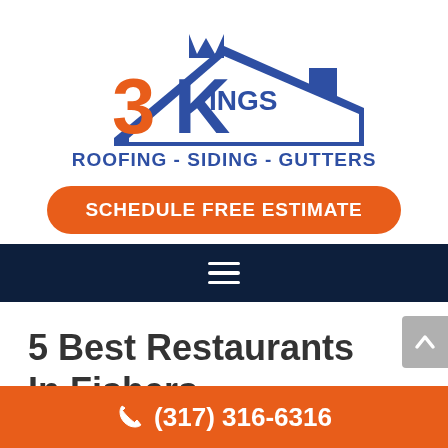[Figure (logo): 3 Kings Roofing - Siding - Gutters logo with a house roofline and stylized crown and number 3]
SCHEDULE FREE ESTIMATE
[Figure (other): Navigation bar with hamburger menu icon (three horizontal lines) on dark navy background]
5 Best Restaurants In Fishers
(317) 316-6316